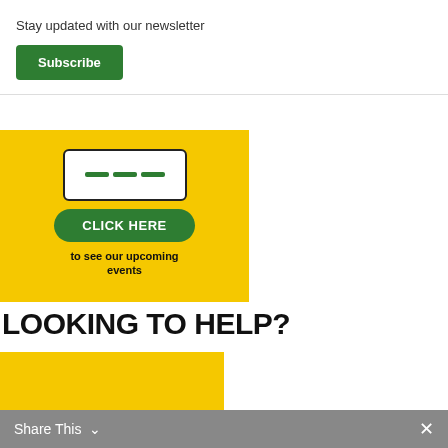Stay updated with our newsletter
Subscribe
[Figure (infographic): Yellow banner with tablet device icon and green 'CLICK HERE' button, with text 'to see our upcoming events']
LOOKING TO HELP?
[Figure (infographic): Yellow banner with a phone/tablet showing 'VOLUNTEERS NEEDED' text, with sparkle decorations]
Share This ×